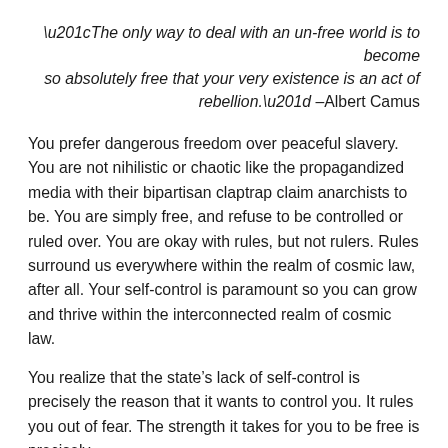“The only way to deal with an un-free world is to become so absolutely free that your very existence is an act of rebellion.” –Albert Camus
You prefer dangerous freedom over peaceful slavery. You are not nihilistic or chaotic like the propagandized media with their bipartisan claptrap claim anarchists to be. You are simply free, and refuse to be controlled or ruled over. You are okay with rules, but not rulers. Rules surround us everywhere within the realm of cosmic law, after all. Your self-control is paramount so you can grow and thrive within the interconnected realm of cosmic law.
You realize that the state’s lack of self-control is precisely the reason that it wants to control you. It rules you out of fear. The strength it takes for you to be free is precisely what the state has turned from freedom. It is over that...